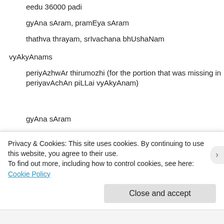eedu 36000 padi
gyAna sAram, pramEya sAram
thathva thrayam, srIvachana bhUshaNam
vyAkyAnams
periyAzhwAr thirumozhi (for the portion that was missing in periyavAchAn piLLai vyAkyAnam)
gyAna sAram
Script (by aruLALap_perumAL emperumAnAr)
thamizh
English
Detailed Commentary
Privacy & Cookies: This site uses cookies. By continuing to use this website, you agree to their use.
To find out more, including how to control cookies, see here: Cookie Policy